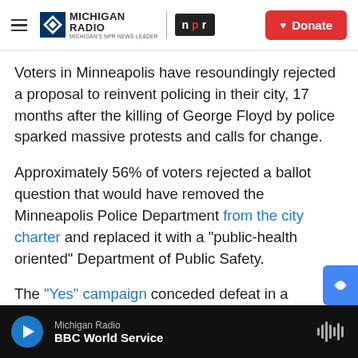Michigan Radio | NPR | Donate
Voters in Minneapolis have resoundingly rejected a proposal to reinvent policing in their city, 17 months after the killing of George Floyd by police sparked massive protests and calls for change.
Approximately 56% of voters rejected a ballot question that would have removed the Minneapolis Police Department from the city charter and replaced it with a "public-health oriented" Department of Public Safety.
The "Yes" campaign conceded defeat in a statement that read, in part, "We spoke the tr
Michigan Radio | BBC World Service